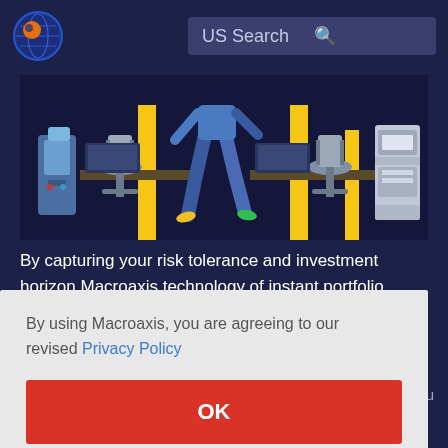[Figure (screenshot): Macroaxis website header with logo (orange globe icon) on the left and a search bar labeled 'US Search' on the right against a dark navy background]
[Figure (illustration): Office scene illustration showing walking legs, chairs, desks, yellow pillars, a water cooler on the left, and a printer/copier on the right, against a dark background]
By capturing your risk tolerance and investment horizon Macroaxis technology of instant portfolio
By using Macroaxis, you are agreeing to our revised Privacy Policy
OK
e Mogu
Inc ADR information on this page should be used as a